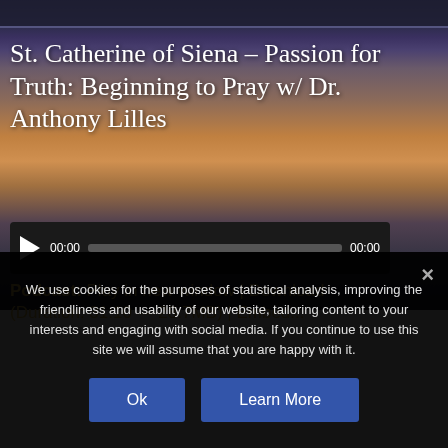St. Catherine of Siena – Passion for Truth: Beginning to Pray w/ Dr. Anthony Lilles
[Figure (other): Audio player with play button, time display 00:00, progress bar, and end time 00:00 on dark background]
Podcast: Play in new window | Download (Duration: 31:10 — 28.7MB) | Embed...
We use cookies for the purposes of statistical analysis, improving the friendliness and usability of our website, tailoring content to your interests and engaging with social media. If you continue to use this site we will assume that you are happy with it.
Ok
Learn More